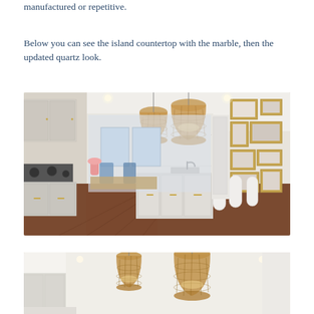manufactured or repetitive.
Below you can see the island countertop with the marble, then the updated quartz look.
[Figure (photo): Interior kitchen photo showing a bright white kitchen with a long island countertop, two wicker pendant lights hanging from the ceiling, dark hardwood floors, stainless steel appliances on the left, a gallery wall with gold-framed photos on the right, and a view through to a dining area with blue chairs and large windows in the background.]
[Figure (photo): Partial view of the same kitchen from a different angle, showing white cabinets and two wicker/rattan pendant lights hanging from a white ceiling.]